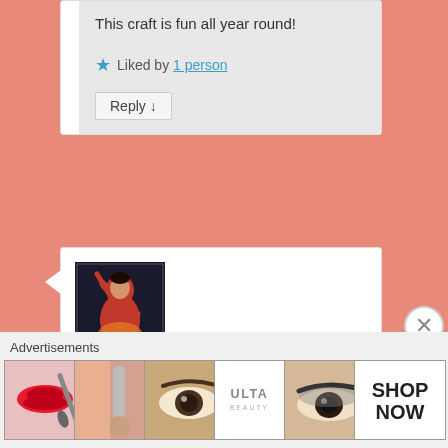This craft is fun all year round!
Liked by 1 person
Reply ↓
[Figure (photo): Avatar photo of Vidya Tiru — a person dancing in a red orange outfit on a dark background]
Vidya Tiru on February 17, 2021 at 10:06 pm said:
cute idea that is bound to be a hit
Advertisements
[Figure (photo): ULTA Beauty advertisement strip showing makeup and eye images with SHOP NOW button]